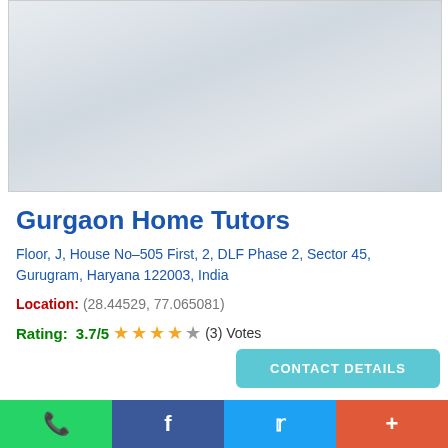[Figure (map): Google Maps style map showing location in Gurugram, Haryana]
Gurgaon Home Tutors
Floor, J, House No-505 First, 2, DLF Phase 2, Sector 45, Gurugram, Haryana 122003, India
Location: (28.44529, 77.065081)
Rating: 3.7/5 ★★★★☆ (3) Votes